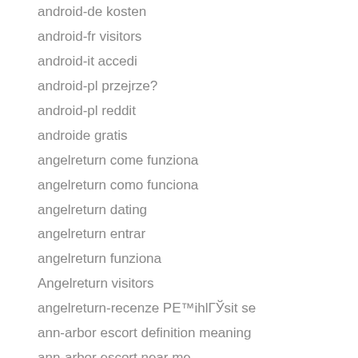android-de kosten
android-fr visitors
android-it accedi
android-pl przejrze?
android-pl reddit
androide gratis
angelreturn come funziona
angelreturn como funciona
angelreturn dating
angelreturn entrar
angelreturn funziona
Angelreturn visitors
angelreturn-recenze PE™ihlГЎsit se
ann-arbor escort definition meaning
ann-arbor escort near me